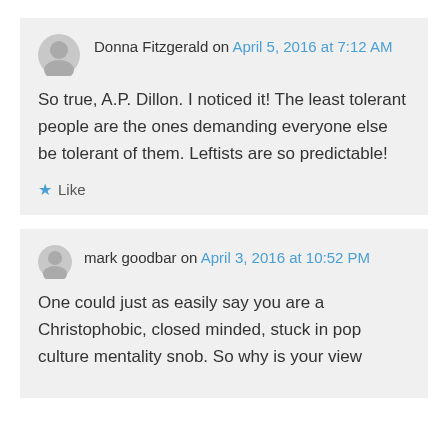Donna Fitzgerald on April 5, 2016 at 7:12 AM
So true, A.P. Dillon. I noticed it! The least tolerant people are the ones demanding everyone else be tolerant of them. Leftists are so predictable!
Like
mark goodbar on April 3, 2016 at 10:52 PM
One could just as easily say you are a Christophobic, closed minded, stuck in pop culture mentality snob. So why is your view